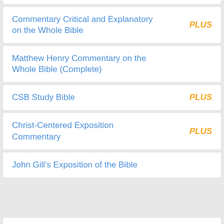Commentary Critical and Explanatory on the Whole Bible PLUS
Matthew Henry Commentary on the Whole Bible (Complete)
CSB Study Bible PLUS
Christ-Centered Exposition Commentary PLUS
John Gill's Exposition of the Bible